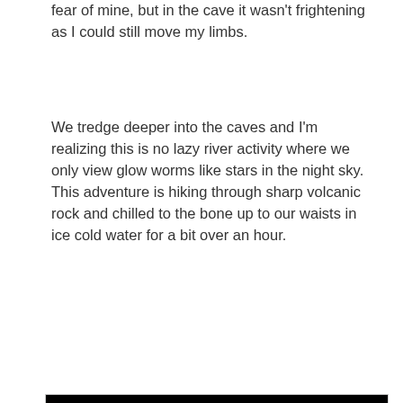fear of mine, but in the cave it wasn't frightening as I could still move my limbs.
We tredge deeper into the caves and I'm realizing this is no lazy river activity where we only view glow worms like stars in the night sky. This adventure is hiking through sharp volcanic rock and chilled to the bone up to our waists in ice cold water for a bit over an hour.
[Figure (photo): Dark cave interior photo with headlamp lights visible in the middle distance, showing people wading through a cave. The scene is very dark with bright blue/white headlamp beams glowing in the darkness, with rocky cave walls faintly visible on the left side.]